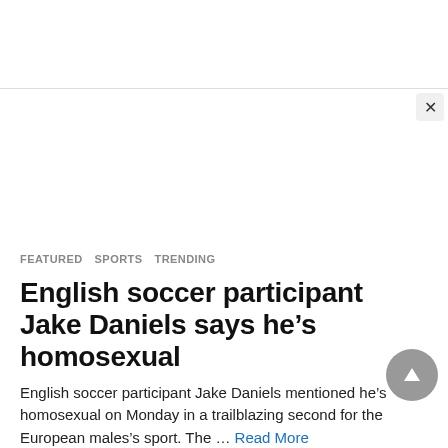FEATURED   SPORTS   TRENDING
English soccer participant Jake Daniels says he’s homosexual
English soccer participant Jake Daniels mentioned he’s homosexual on Monday in a trailblazing second for the European males’s sport. The … Read More